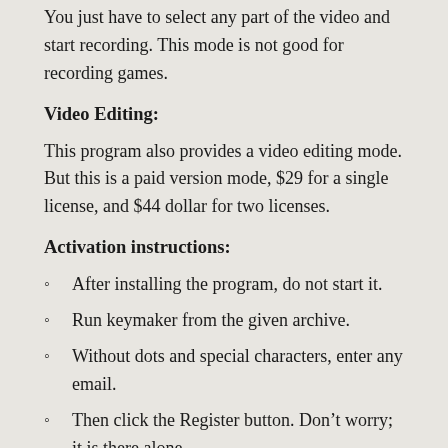You just have to select any part of the video and start recording. This mode is not good for recording games.
Video Editing:
This program also provides a video editing mode. But this is a paid version mode, $29 for a single license, and $44 dollar for two licenses.
Activation instructions:
After installing the program, do not start it.
Run keymaker from the given archive.
Without dots and special characters, enter any email.
Then click the Register button. Don't worry; it is there alone.